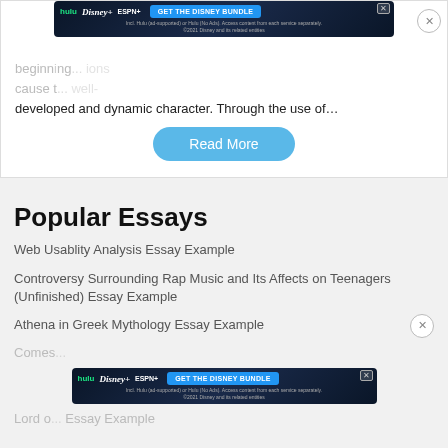[Figure (screenshot): Disney Bundle advertisement banner (Hulu, Disney+, ESPN+) with GET THE DISNEY BUNDLE button]
beginning... ions cause t... well-developed and dynamic character. Through the use of…
Read More
Popular Essays
Web Usablity Analysis Essay Example
Controversy Surrounding Rap Music and Its Affects on Teenagers (Unfinished) Essay Example
Athena in Greek Mythology Essay Example
Comes...
[Figure (screenshot): Disney Bundle advertisement banner (Hulu, Disney+, ESPN+) with GET THE DISNEY BUNDLE button]
Lord o... Essay Example